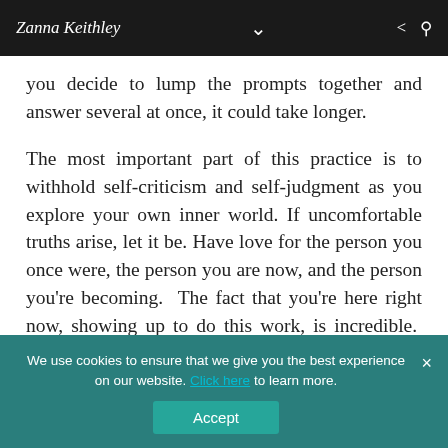Zanna Keithley
you decide to lump the prompts together and answer several at once, it could take longer.
The most important part of this practice is to withhold self-criticism and self-judgment as you explore your own inner world. If uncomfortable truths arise, let it be. Have love for the person you once were, the person you are now, and the person you're becoming. The fact that you're here right now, showing up to do this work, is incredible. Instead of judging yourself, find immense gratitude for your courageous heart; it isn't easy to pursue this type of self-growth, but
We use cookies to ensure that we give you the best experience on our website. Click here to learn more.